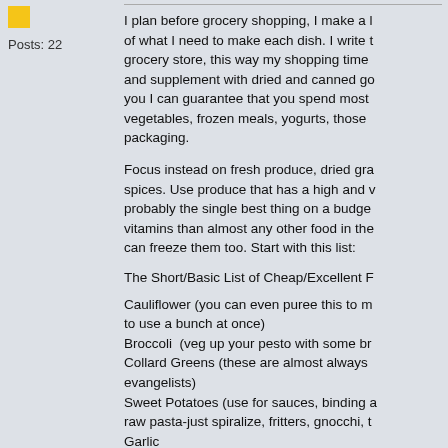Posts: 22
I plan before grocery shopping, I make a list of what I need to make each dish. I write the grocery store, this way my shopping time and supplement with dried and canned go you I can guarantee that you spend most vegetables, frozen meals, yogurts, those packaging.
Focus instead on fresh produce, dried gra spices. Use produce that has a high and v probably the single best thing on a budge vitamins than almost any other food in the can freeze them too. Start with this list:
The Short/Basic List of Cheap/Excellent F
Cauliflower (you can even puree this to m to use a bunch at once)
Broccoli  (veg up your pesto with some br
Collard Greens (these are almost always evangelists)
Sweet Potatoes (use for sauces, binding a raw pasta-just spiralize, fritters, gnocchi, t
Garlic
Ginger